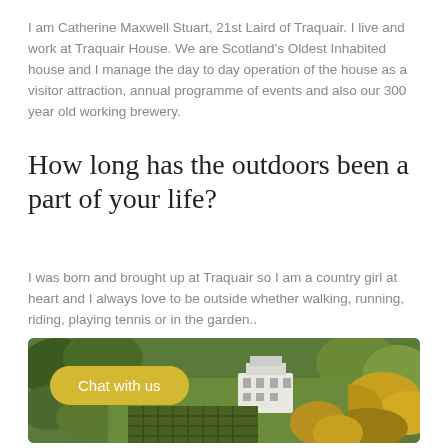I am Catherine Maxwell Stuart, 21st Laird of Traquair. I live and work at Traquair House. We are Scotland's Oldest Inhabited house and I manage the day to day operation of the house as a visitor attraction, annual programme of events and also our 300 year old working brewery.
How long has the outdoors been a part of your life?
I was born and brought up at Traquair so I am a country girl at heart and I always love to be outside whether walking, running, riding, playing tennis or in the garden..
[Figure (photo): Aerial photograph of Traquair House surrounded by trees and gardens, showing the white historic building and a hedge maze from above. A yellow 'Chat with us' button overlay appears on the lower left of the image.]